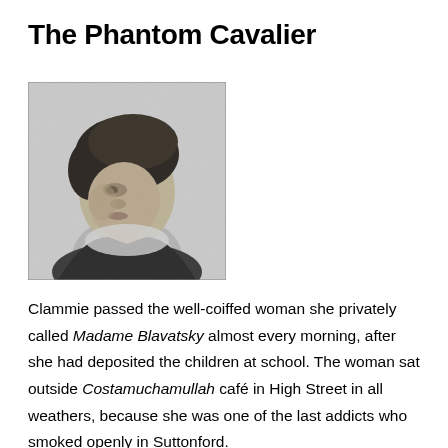The Phantom Cavalier
[Figure (photo): Black and white portrait photograph of a woman with dark hair worn up, facing slightly left, wearing a dark garment with what appears to be a fur or feathered collar.]
Clammie passed the well-coiffed woman she privately called Madame Blavatsky almost every morning, after she had deposited the children at school. The woman sat outside Costamuchamullah café in High Street in all weathers, because she was one of the last addicts who smoked openly in Suttonford.